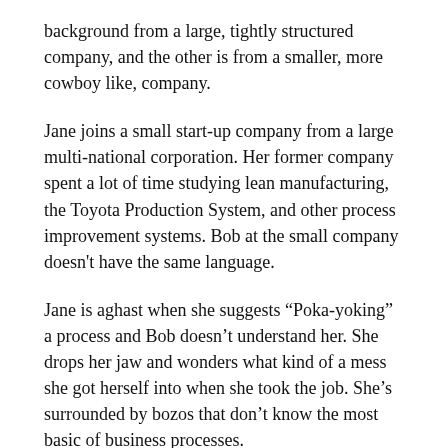background from a large, tightly structured company, and the other is from a smaller, more cowboy like, company.
Jane joins a small start-up company from a large multi-national corporation. Her former company spent a lot of time studying lean manufacturing, the Toyota Production System, and other process improvement systems. Bob at the small company doesn't have the same language.
Jane is aghast when she suggests “Poka-yoking” a process and Bob doesn’t understand her. She drops her jaw and wonders what kind of a mess she got herself into when she took the job. She’s surrounded by bozos that don’t know the most basic of business processes.
Poka-yoke is a term used in the Toyota Production System. (Wikipedia entry here) It sounds like a rather exotic process, but it just means to make a product or